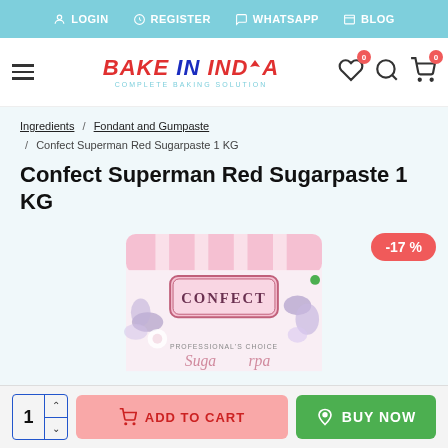LOGIN  REGISTER  WHATSAPP  BLOG
[Figure (logo): Bake In India logo with tagline 'COMPLETE BAKING SOLUTION']
Ingredients / Fondant and Gumpaste / Confect Superman Red Sugarpaste 1 KG
Confect Superman Red Sugarpaste 1 KG
[Figure (photo): Product image of Confect Superman Red Sugarpaste 1 KG in a pink striped bag with floral design and 'PROFESSIONAL'S CHOICE' text. Discount badge showing -17%]
1  ADD TO CART  BUY NOW